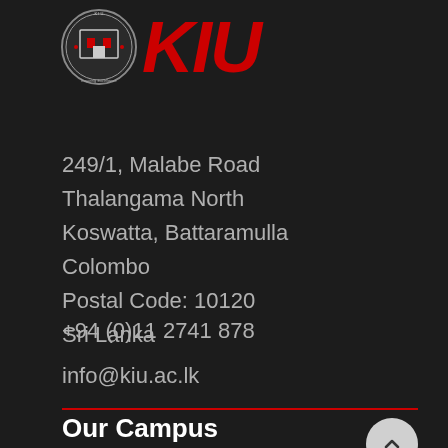[Figure (logo): KIU (Knowledge Institute University) logo with circular emblem and large red italic KIU text]
249/1, Malabe Road
Thalangama North
Koswatta, Battaramulla
Colombo
Postal Code: 10120
Sri Lanka
+94 (0)11 2741 878
info@kiu.ac.lk
Our Campus